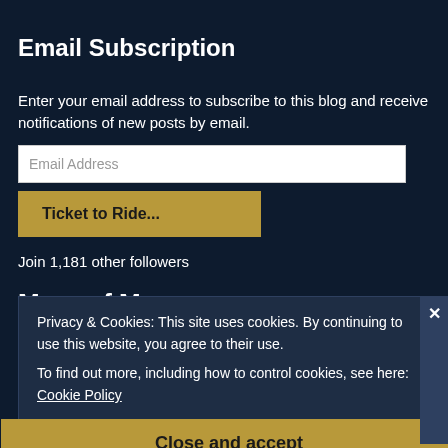Email Subscription
Enter your email address to subscribe to this blog and receive notifications of new posts by email.
Email Address
Ticket to Ride...
Join 1,181 other followers
More of Me...
JillTerry.com
Privacy & Cookies: This site uses cookies. By continuing to use this website, you agree to their use.
To find out more, including how to control cookies, see here: Cookie Policy
Close and accept